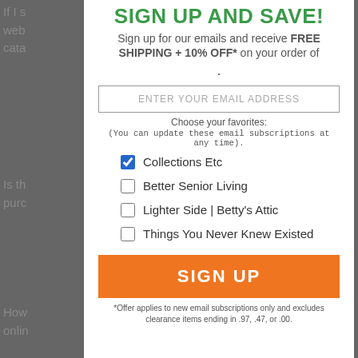SIGN UP AND SAVE!
Sign up for our emails and receive FREE SHIPPING + 10% OFF* on your order of .
ENTER YOUR EMAIL ADDRESS
Choose your favorites:
(You can update these email subscriptions at any time).
Collections Etc
Better Senior Living
Lighter Side | Betty's Attic
Things You Never Knew Existed
SIGN UP
*Offer applies to new email subscriptions only and excludes clearance items ending in .97, .47, or .00.